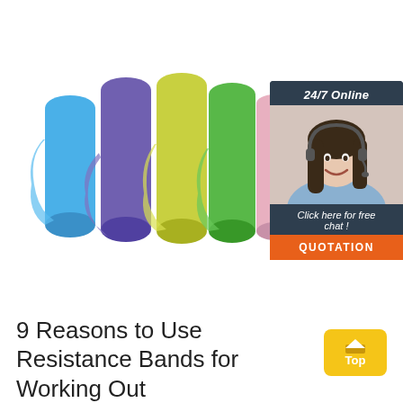[Figure (photo): Colorful resistance exercise bands rolled up standing upright — blue, purple, yellow-green, green, and pink — on a white background.]
[Figure (infographic): Customer service chat widget: dark navy background, '24/7 Online' header, photo of smiling woman with headset, 'Click here for free chat!' text, and orange 'QUOTATION' button.]
[Figure (other): Yellow rounded 'Top' button with upward arrow icon.]
9 Reasons to Use Resistance Bands for Working Out